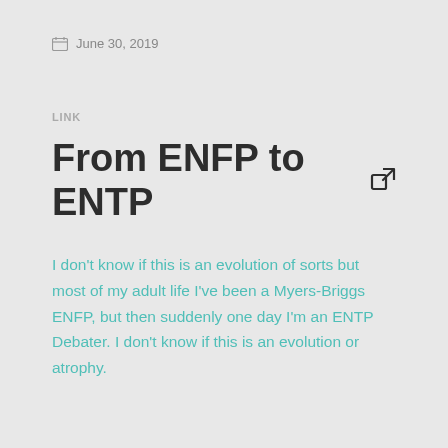June 30, 2019
LINK
From ENFP to ENTP
I don’t know if this is an evolution of sorts but most of my adult life I’ve been a Myers-Briggs ENFP, but then suddenly one day I’m an ENTP Debater. I don’t know if this is an evolution or atrophy.